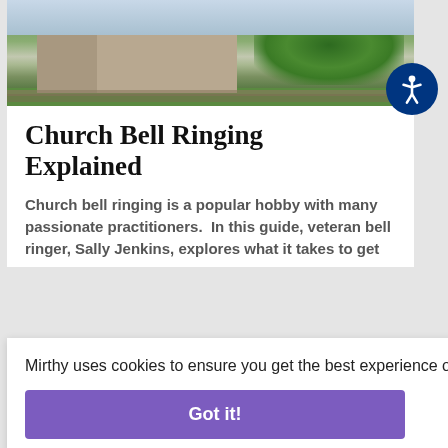[Figure (photo): Photograph of a stone church building with green lawn, stone walls, and trees in the background under a bright sky]
Church Bell Ringing Explained
Church bell ringing is a popular hobby with many passionate practitioners. In this guide, veteran bell ringer, Sally Jenkins, explores what it takes to get
Mirthy uses cookies to ensure you get the best experience on our website. Learn more
Got it!
[Figure (photo): Bottom strip showing partial images]